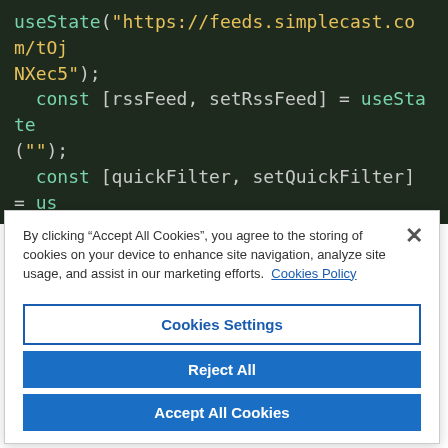[Figure (screenshot): Dark-themed code editor screenshot showing React useState hook declarations with variables rssFeed, quickFilter, and feedUrls. Code uses green/teal keywords and yellow string literals on a dark green background.]
By clicking "Accept All Cookies", you agree to the storing of cookies on your device to enhance site navigation, analyze site usage, and assist in our marketing efforts.  Cookies Policy
Cookies Settings
Reject All
Accept All Cookies